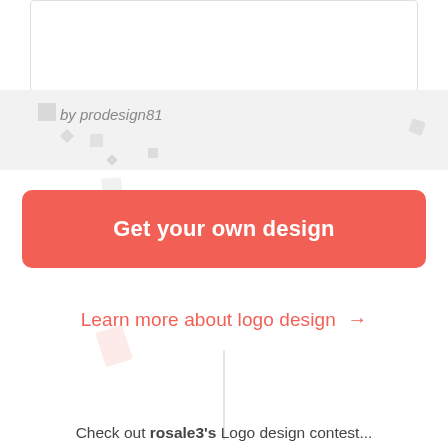[Figure (illustration): White card/image area at the top of the page, partially visible, with a light gray background section below it containing decorative square shapes and the text 'by prodesign81' in italic gray.]
by prodesign81
[Figure (other): Red/coral rounded button labeled 'Get your own design' in white bold text.]
Get your own design
Learn more about logo design →
Check out rosale3's Logo design contest...